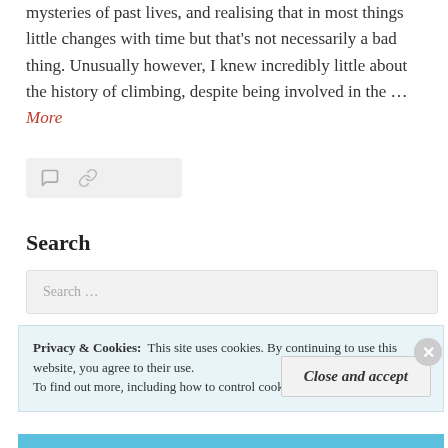mysteries of past lives, and realising that in most things little changes with time but that's not necessarily a bad thing. Unusually however, I knew incredibly little about the history of climbing, despite being involved in the … More
[Figure (other): Icon bar with comment bubble icon and link/share icon on light gray background]
Search
Search …
Privacy & Cookies: This site uses cookies. By continuing to use this website, you agree to their use. To find out more, including how to control cookies, see here: Cookie Policy
Close and accept